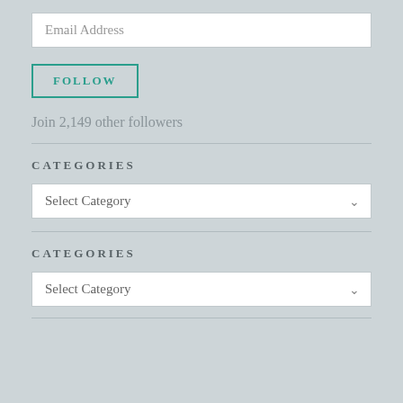Email Address
FOLLOW
Join 2,149 other followers
CATEGORIES
Select Category
CATEGORIES
Select Category